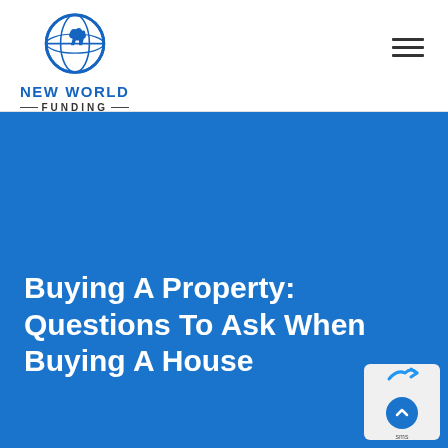[Figure (logo): New World Funding logo with globe icon and text 'NEW WORLD FUNDING']
Buying A Property: Questions To Ask When Buying A House